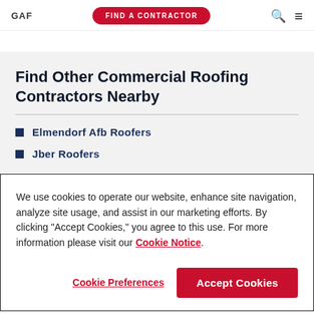GAF | FIND A CONTRACTOR
Find Other Commercial Roofing Contractors Nearby
Elmendorf Afb Roofers
Jber Roofers
We use cookies to operate our website, enhance site navigation, analyze site usage, and assist in our marketing efforts. By clicking "Accept Cookies," you agree to this use. For more information please visit our Cookie Notice.
Cookie Preferences | Accept Cookies